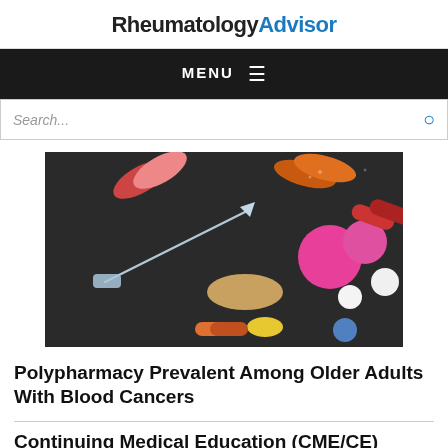RheumatologyAdvisor
MENU
Search...
[Figure (photo): Various colorful pills, capsules, and a syringe on a dark background]
Polypharmacy Prevalent Among Older Adults With Blood Cancers
Continuing Medical Education (CME/CE) Courses
New Opportunities in the Treatment